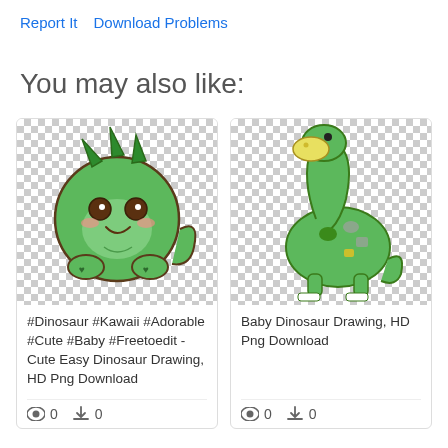Report It   Download Problems
You may also like:
[Figure (illustration): Kawaii cute baby dinosaur illustration - round green cartoon dinosaur with spikes, pink cheeks, and heart-shaped feet on transparent/checkered background]
#Dinosaur #Kawaii #Adorable #Cute #Baby #Freetoedit - Cute Easy Dinosaur Drawing, HD Png Download
0  0
[Figure (illustration): Baby dinosaur drawing - green cartoon sauropod dinosaur with yellow snout, spots, and stubby legs on transparent/checkered background]
Baby Dinosaur Drawing, HD Png Download
0  0